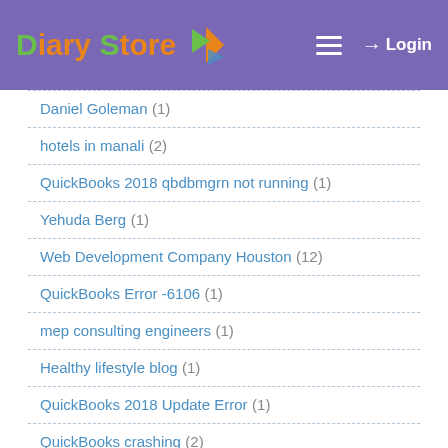Diary Store | Login
Daniel Goleman (1)
hotels in manali (2)
QuickBooks 2018 qbdbmgrn not running (1)
Yehuda Berg (1)
Web Development Company Houston (12)
QuickBooks Error -6106 (1)
mep consulting engineers (1)
Healthy lifestyle blog (1)
QuickBooks 2018 Update Error (1)
QuickBooks crashing (2)
Error Code 108 QuickBooks (1)
Hard work (3)
team work (1)